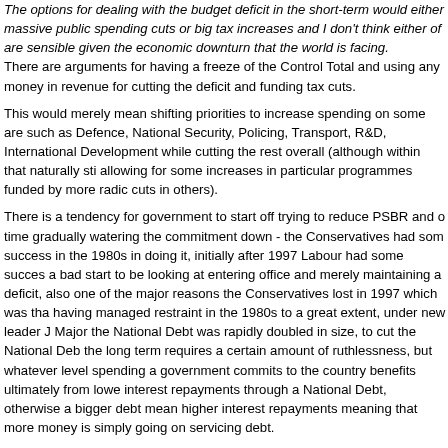The options for dealing with the budget deficit in the short-term would either massive public spending cuts or big tax increases and I don't think either of are sensible given the economic downturn that the world is facing. There are arguments for having a freeze of the Control Total and using any money in revenue for cutting the deficit and funding tax cuts.
This would merely mean shifting priorities to increase spending on some are such as Defence, National Security, Policing, Transport, R&D, International Development while cutting the rest overall (although within that naturally sti allowing for some increases in particular programmes funded by more radic cuts in others).
There is a tendency for government to start off trying to reduce PSBR and o time gradually watering the commitment down - the Conservatives had som success in the 1980s in doing it, initially after 1997 Labour had some succes a bad start to be looking at entering office and merely maintaining a deficit, also one of the major reasons the Conservatives lost in 1997 which was tha having managed restraint in the 1980s to a great extent, under new leader J Major the National Debt was rapidly doubled in size, to cut the National Deb the long term requires a certain amount of ruthlessness, but whatever level spending a government commits to the country benefits ultimately from lowe interest repayments through a National Debt, otherwise a bigger debt mean higher interest repayments meaning that more money is simply going on servicing debt.